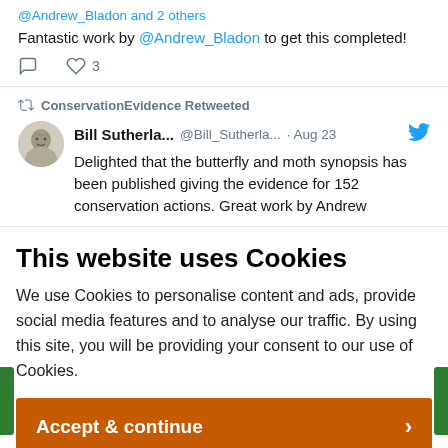@Andrew_Bladon and 2 others
Fantastic work by @Andrew_Bladon to get this completed!
ConservationEvidence Retweeted
Bill Sutherla... @Bill_Sutherla... · Aug 23
Delighted that the butterfly and moth synopsis has been published giving the evidence for 152 conservation actions. Great work by Andrew
This website uses Cookies
We use Cookies to personalise content and ads, provide social media features and to analyse our traffic. By using this site, you will be providing your consent to our use of Cookies.
Accept & continue